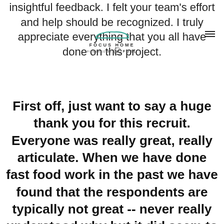insightful feedback. I felt your team's effort and help should be recognized. I truly appreciate everything that you all have done on this project.
[Figure (logo): Focus Home logo with car icon and 'POWERED BY FUEL' tagline]
First off, just want to say a huge thank you for this recruit. Everyone was really great, really articulate. When we have done fast food work in the past we have found that the respondents are typically not great -- never really understood why but it did seem to be a thing. We have not found